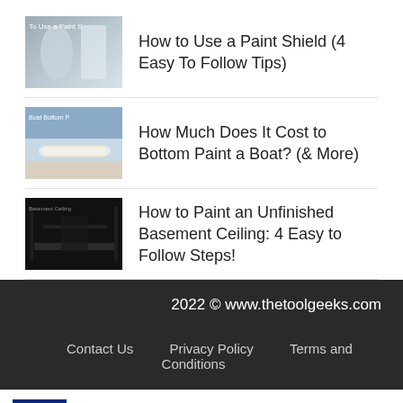How to Use a Paint Shield (4 Easy To Follow Tips)
How Much Does It Cost to Bottom Paint a Boat? (& More)
How to Paint an Unfinished Basement Ceiling: 4 Easy to Follow Steps!
2022 © www.thetoolgeeks.com
Contact Us   Privacy Policy   Terms and Conditions
[Figure (screenshot): Petco advertisement banner: Get Your Pet Ready For Summe, Petco]